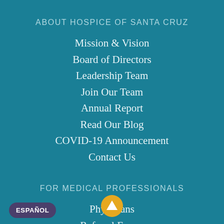ABOUT HOSPICE OF SANTA CRUZ
Mission & Vision
Board of Directors
Leadership Team
Join Our Team
Annual Report
Read Our Blog
COVID-19 Announcement
Contact Us
FOR MEDICAL PROFESSIONALS
Physicians
Referral Forms
Reimbursement for Services
Quality of Life Newsletter
ESPAÑOL